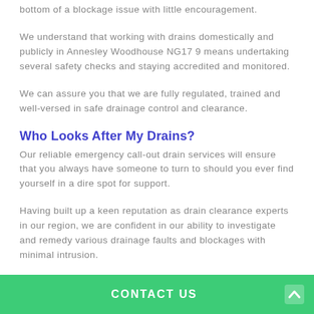bottom of a blockage issue with little encouragement.
We understand that working with drains domestically and publicly in Annesley Woodhouse NG17 9 means undertaking several safety checks and staying accredited and monitored.
We can assure you that we are fully regulated, trained and well-versed in safe drainage control and clearance.
Who Looks After My Drains?
Our reliable emergency call-out drain services will ensure that you always have someone to turn to should you ever find yourself in a dire spot for support.
Having built up a keen reputation as drain clearance experts in our region, we are confident in our ability to investigate and remedy various drainage faults and blockages with minimal intrusion.
CONTACT US